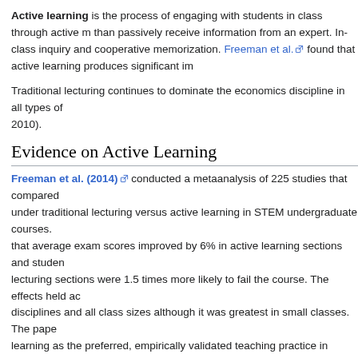Active learning is the process of engaging with students in class through active methods rather than passively receive information from an expert. In-class inquiry and cooperative learning replace memorization. Freeman et al. found that active learning produces significant im...
Traditional lecturing continues to dominate the economics discipline in all types of... 2010).
Evidence on Active Learning
Freeman et al. (2014) conducted a metaanalysis of 225 studies that compared student performance under traditional lecturing versus active learning in STEM undergraduate courses. They found that average exam scores improved by 6% in active learning sections and students in traditional lecturing sections were 1.5 times more likely to fail the course. The effects held across all disciplines and all class sizes although it was greatest in small classes. The paper called active learning as the preferred, empirically validated teaching practice in regular classro...
Lorenzo et al. (2006) investigate the effects of active learning in a introductory physics course at Harvard University. The results showed that interactive teaching methods not only improved understanding for both male and female students but reduced the gender gap by males understanding significantly more. The study varied levels of activity in courses and found that the most interactive course almost entirely eliminated the gender gap.
Deslauriers et al. (2011) studies the effects of two different instructional appro... enrollment physics class. They measured the learning of a set of concepts when taught by traditional lecturing by an experienced highly rated instructor and when taught by active learning methods by an inexperienced post-doctoral fellow. The results showed in... higher engagement, and more than twice the learning in treatment group. "The cli...